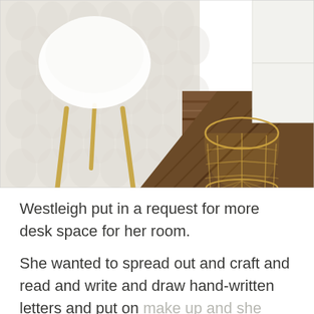[Figure (photo): Interior room photo showing a white molded plastic chair with gold legs on a light gray patterned rug, a gold wire mesh cylindrical basket on dark hardwood flooring, and white cabinetry visible in the upper right corner.]
Westleigh put in a request for more desk space for her room.
She wanted to spread out and craft and read and write and draw hand-written letters and put on make up and she needed desk space for all that. Her other desk had amazing storage, but it didn't